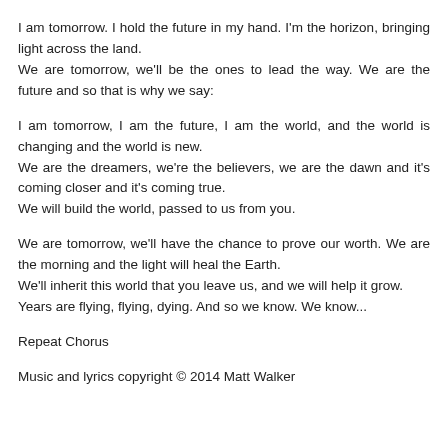I am tomorrow. I hold the future in my hand. I'm the horizon, bringing light across the land.
We are tomorrow, we'll be the ones to lead the way. We are the future and so that is why we say:
I am tomorrow, I am the future, I am the world, and the world is changing and the world is new.
We are the dreamers, we're the believers, we are the dawn and it's coming closer and it's coming true.
We will build the world, passed to us from you.
We are tomorrow, we'll have the chance to prove our worth. We are the morning and the light will heal the Earth.
We'll inherit this world that you leave us, and we will help it grow.
Years are flying, flying, dying. And so we know. We know...
Repeat Chorus
Music and lyrics copyright © 2014 Matt Walker